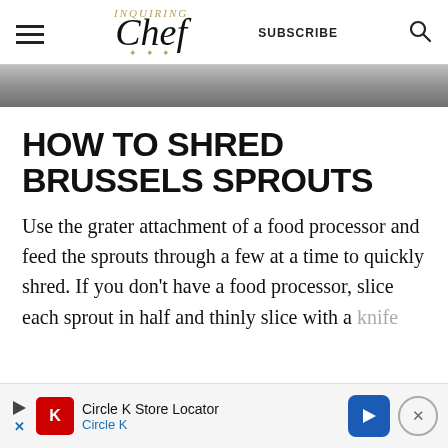Inquiring Chef | SUBSCRIBE
[Figure (photo): Partial image of food/Brussels sprouts, gray-toned photo strip]
HOW TO SHRED BRUSSELS SPROUTS
Use the grater attachment of a food processor and feed the sprouts through a few at a time to quickly shred. If you don't have a food processor, slice each sprout in half and thinly slice with a knife
[Figure (infographic): Circle K Store Locator advertisement banner at bottom of page]